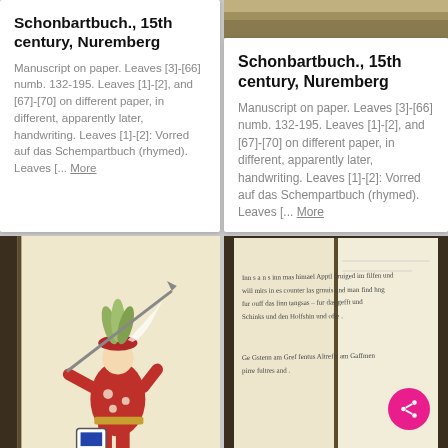Schonbartbuch., 15th century, Nuremberg
Manuscript on paper. Leaves [3]-[66] numb. 132-195. Leaves [1]-[2], and [67]-[70] on different paper, in different, apparently later, handwriting. Leaves [1]-[2]: Vorred auf das Schempartbuch (rhymed). Leaves [... More
Schonbartbuch., 15th century, Nuremberg
Manuscript on paper. Leaves [3]-[66] numb. 132-195. Leaves [1]-[2], and [67]-[70] on different paper, in different, apparently later, handwriting. Leaves [1]-[2]: Vorred auf das Schempartbuch (rhymed). Leaves [... More
[Figure (photo): Illuminated manuscript page showing a costumed figure in red and white outfit with a lance or staff, wearing a feathered helmet, with a heraldic shield at bottom.]
[Figure (photo): Open manuscript book showing handwritten German text in medieval script on aged parchment/paper pages.]